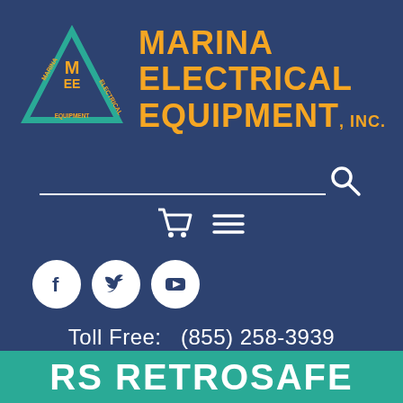[Figure (logo): Marina Electrical Equipment, Inc. logo with teal triangle containing MEE initials and orange company name text]
[Figure (screenshot): Search bar with magnifying glass icon, shopping cart icon, and hamburger menu icon]
[Figure (infographic): Social media icons for Facebook, Twitter, and YouTube in white circles on dark blue background]
Toll Free:   (855) 258-3939
info@marinaee.com
RS RETROSAFE